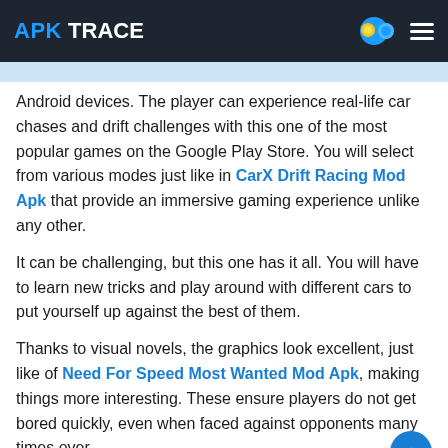APK TRACE
Android devices. The player can experience real-life car chases and drift challenges with this one of the most popular games on the Google Play Store. You will select from various modes just like in CarX Drift Racing Mod Apk that provide an immersive gaming experience unlike any other.
It can be challenging, but this one has it all. You will have to learn new tricks and play around with different cars to put yourself up against the best of them.
Thanks to visual novels, the graphics look excellent, just like of Need For Speed Most Wanted Mod Apk, making things more interesting. These ensure players do not get bored quickly, even when faced against opponents many times over.
Table of Contents